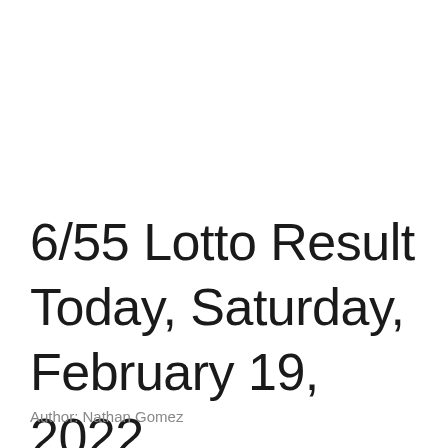6/55 Lotto Result Today, Saturday, February 19, 2022
Author: Nathan Gomez